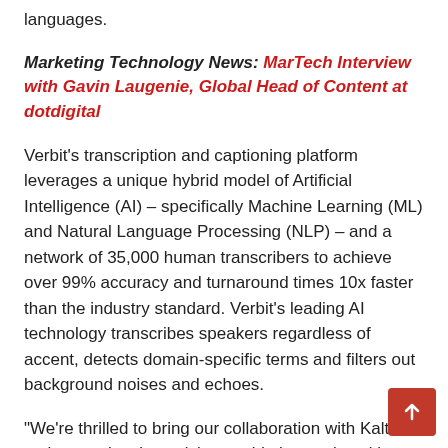languages.
Marketing Technology News: MarTech Interview with Gavin Laugenie, Global Head of Content at dotdigital
Verbit's transcription and captioning platform leverages a unique hybrid model of Artificial Intelligence (AI) – specifically Machine Learning (ML) and Natural Language Processing (NLP) – and a network of 35,000 human transcribers to achieve over 99% accuracy and turnaround times 10x faster than the industry standard. Verbit's leading AI technology transcribes speakers regardless of accent, detects domain-specific terms and filters out background noises and echoes.
“We're thrilled to bring our collaboration with Kaltura to the next level, servicing world-class universities and corporations of all types and sizes,” said Jacques Botbol, Vice President of Marketing at Verbit. “This is a strong vote of confidence in our technology from a